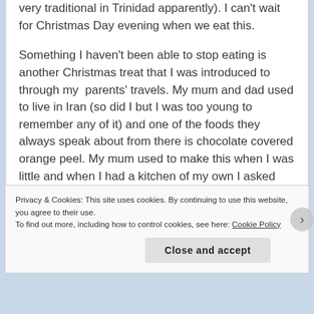very traditional in Trinidad apparently). I can't wait for Christmas Day evening when we eat this.
Something I haven't been able to stop eating is another Christmas treat that I was introduced to through my parents' travels. My mum and dad used to live in Iran (so did I but I was too young to remember any of it) and one of the foods they always speak about from there is chocolate covered orange peel. My mum used to make this when I was little and when I had a kitchen of my own I asked her for the recipe, which I never wrote down and started
Privacy & Cookies: This site uses cookies. By continuing to use this website, you agree to their use.
To find out more, including how to control cookies, see here: Cookie Policy
Close and accept